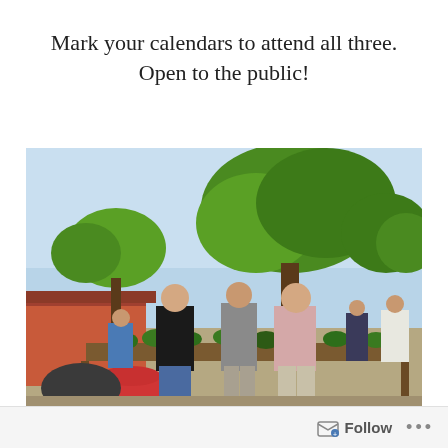Mark your calendars to attend all three. Open to the public!
[Figure (photo): Outdoor plant sale scene with several people standing and browsing plants on tables. Trees with green foliage visible in background, red bucket and potted plants in foreground, building visible on left.]
Follow ...